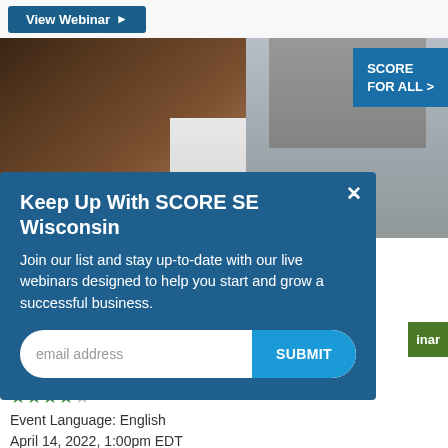[Figure (screenshot): View Webinar button with dark blue background and arrow]
[Figure (screenshot): SCORE FOR ALL badge in blue at top right]
[Figure (photo): Two people in a business/cafe setting, one wearing brown leather jacket, another in grey vest]
Keep Up With SCORE SE Wisconsin
Join our list and stay up-to-date with our live webinars designed to help you start and grow a successful business.
email address  SUBMIT
★★★★☆
Event Language: English
April 14, 2022, 1:00pm EDT
The hour will be dedicated to answering your money